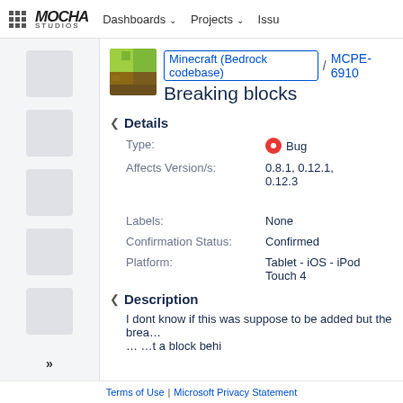MOCHA Studios | Dashboards ∨ | Projects ∨ | Issu…
Breaking blocks
Minecraft (Bedrock codebase) / MCPE-6910
Details
Type: Bug
Status:
Affects Version/s: 0.8.1, 0.12.1, 0.12.3
Resolution:
Fix Version/s:
Labels: None
Confirmation Status: Confirmed
Platform: Tablet - iOS - iPod Touch 4
Description
I dont know if this was suppose to be added but the brea… …t a block behi…
Terms of Use | Microsoft Privacy Statement